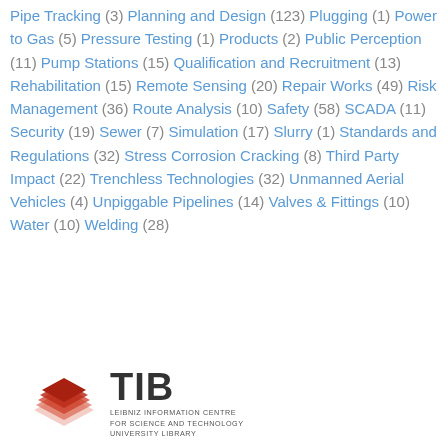Pipe Tracking (3) Planning and Design (123) Plugging (1) Power to Gas (5) Pressure Testing (1) Products (2) Public Perception (11) Pump Stations (15) Qualification and Recruitment (13) Rehabilitation (15) Remote Sensing (20) Repair Works (49) Risk Management (36) Route Analysis (10) Safety (58) SCADA (11) Security (19) Sewer (7) Simulation (17) Slurry (1) Standards and Regulations (32) Stress Corrosion Cracking (8) Third Party Impact (22) Trenchless Technologies (32) Unmanned Aerial Vehicles (4) Unpiggable Pipelines (14) Valves & Fittings (10) Water (10) Welding (28)
[Figure (logo): TIB Leibniz Information Centre for Science and Technology University Library logo with red layered diamond shape on the left and TIB text with subtitle on the right]